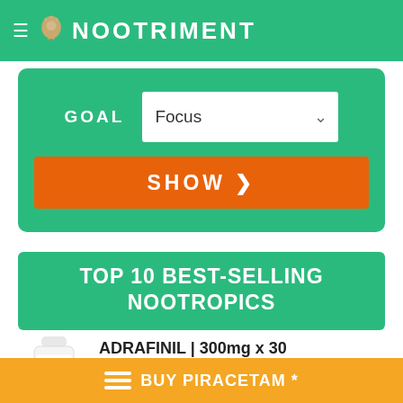NOOTRIMENT
[Figure (screenshot): Goal selector widget with green background, GOAL label, Focus dropdown, and orange SHOW button]
TOP 10 BEST-SELLING NOOTROPICS
ADRAFINIL | 300mg x 30 C...
BUY PIRACETAM *